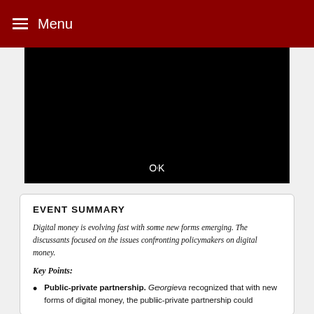Menu
[Figure (screenshot): Black video player area with OK text visible at center-bottom]
EVENT SUMMARY
Digital money is evolving fast with some new forms emerging. The discussants focused on the issues confronting policymakers on digital money.
Key Points:
Public-private partnership. Georgieva recognized that with new forms of digital money, the public-private partnership could